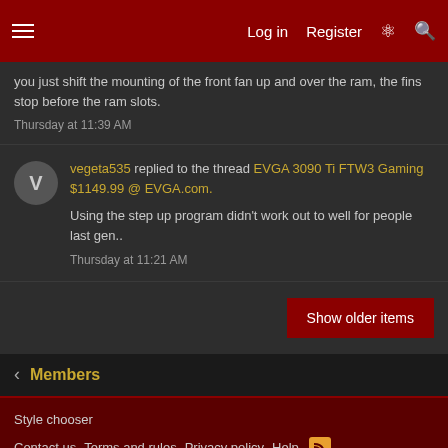Log in  Register
you just shift the mounting of the front fan up and over the ram, the fins stop before the ram slots.
Thursday at 11:39 AM
vegeta535 replied to the thread EVGA 3090 Ti FTW3 Gaming $1149.99 @ EVGA.com.
Using the step up program didn't work out to well for people last gen..
Thursday at 11:21 AM
Show older items
< Members
Style chooser
Contact us  Terms and rules  Privacy policy  Help
Design by: Pixel Exit